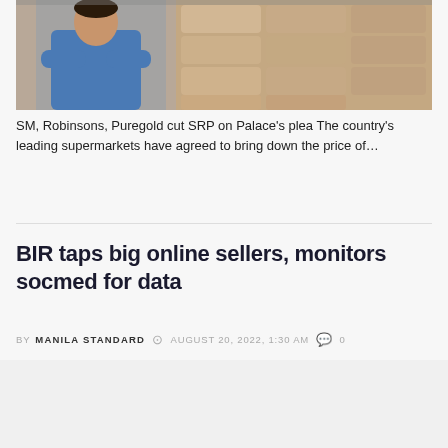[Figure (photo): A person in a blue shirt standing in front of stacked bags of rice/grain in a warehouse or market stall]
SM, Robinsons, Puregold cut SRP on Palace's plea The country's leading supermarkets have agreed to bring down the price of...
BIR taps big online sellers, monitors socmed for data
BY MANILA STANDARD  AUGUST 20, 2022, 1:30 AM  0